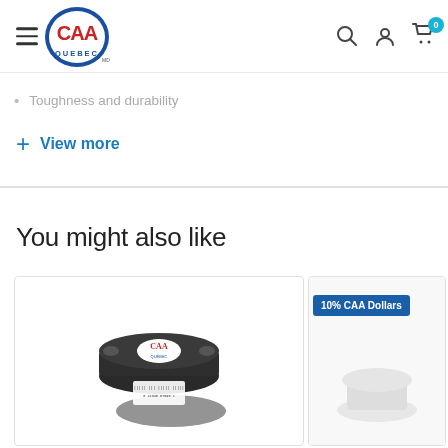CAA Quebec website header with logo, hamburger menu, search, account, and cart icons
Toughness and durability
+ View more
You might also like
[Figure (photo): Product card showing a dark round container/canister with a CAA label and barcode sticker, on a white background. A second product card is partially visible to the right with a '10% CAA Dollars' badge.]